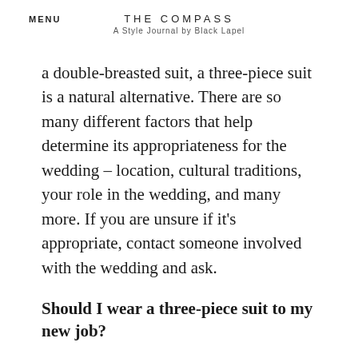MENU | THE COMPASS | A Style Journal by Black Lapel
a double-breasted suit, a three-piece suit is a natural alternative. There are so many different factors that help determine its appropriateness for the wedding – location, cultural traditions, your role in the wedding, and many more. If you are unsure if it's appropriate, contact someone involved with the wedding and ask.
Should I wear a three-piece suit to my new job?
While you may be eager to strut into your new office dressed to the nines in your new three-piece suits, we would